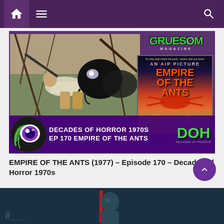Navigation bar with home, menu, and search icons
[Figure (photo): Promotional image for 'Decades of Horror 1970s Episode 170 Empire of the Ants'. Shows a man being attacked by a giant ant creature, with the Empire of the Ants movie poster and Gruesome Magazine logo visible. A banner at the bottom reads: DECADES OF HORROR 1970S EP 170 EMPIRE OF THE ANTS with the DOH logo.]
EMPIRE OF THE ANTS (1977) – Episode 170 – Decades of Horror 1970s